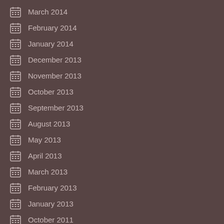March 2014
February 2014
January 2014
December 2013
November 2013
October 2013
September 2013
August 2013
May 2013
April 2013
March 2013
February 2013
January 2013
October 2011